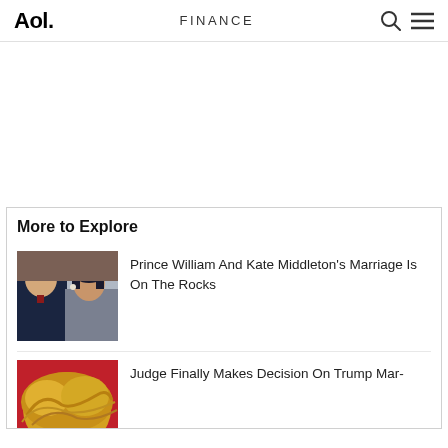Aol. FINANCE
[Figure (other): Advertisement placeholder area (blank white space)]
More to Explore
[Figure (photo): Photo of Prince William and Kate Middleton]
Prince William And Kate Middleton's Marriage Is On The Rocks
[Figure (photo): Photo of Donald Trump (top of head with blonde hair, red background)]
Judge Finally Makes Decision On Trump Mar-